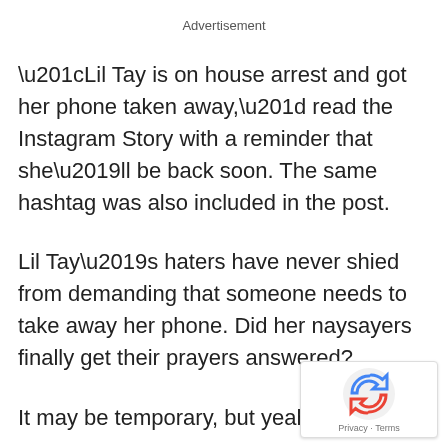Advertisement
“Lil Tay is on house arrest and got her phone taken away,” read the Instagram Story with a reminder that she’ll be back soon. The same hashtag was also included in the post.
Lil Tay’s haters have never shied from demanding that someone needs to take away her phone. Did her naysayers finally get their prayers answered?
It may be temporary, but yeah.